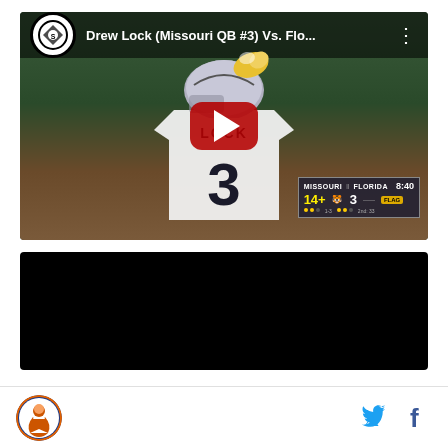[Figure (screenshot): YouTube video thumbnail showing Drew Lock (Missouri QB #3) in white jersey with number 3, helmet on, against football field background. Title bar reads 'Drew Lock (Missouri QB #3) Vs. Flo...' with Steelers logo icon and three-dot menu. Red YouTube play button overlay in center. Scoreboard overlay in lower right showing Missouri 14+ vs 11 Florida 3, time 8:40, FLAG penalty indicated.]
[Figure (screenshot): Second video thumbnail area showing a completely black/dark video frame.]
[Figure (logo): Round logo with orange/blue football player graphic in footer area, left side.]